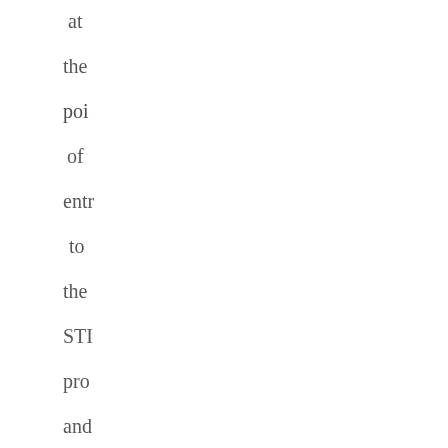at the poi of entr to the STI pro and sug that fem und can be add in par by incr the num